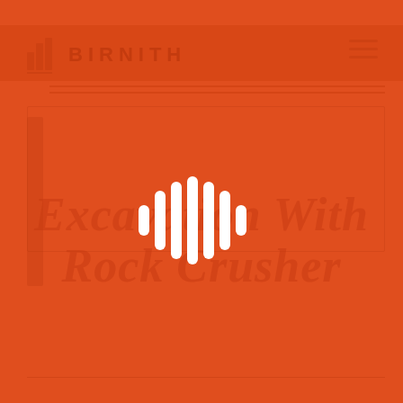[Figure (logo): Orange background with Birnith brand logo (bar chart icon) and company name watermark in top left, with faint rectangular UI overlay elements]
Excavation With Rock Crusher
[Figure (infographic): White audio waveform / sound bars icon centered on the page, consisting of 7 vertical bars of varying heights arranged symmetrically]